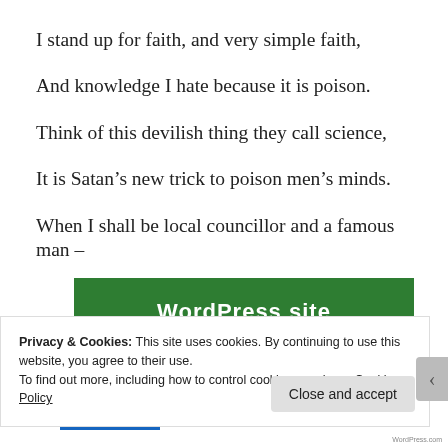I stand up for faith, and very simple faith,
And knowledge I hate because it is poison.
Think of this devilish thing they call science,
It is Satan’s new trick to poison men’s minds.
When I shall be local councillor and a famous man –
[Figure (screenshot): Green WordPress site banner with white bold text reading 'WordPress site']
Privacy & Cookies: This site uses cookies. By continuing to use this website, you agree to their use.
To find out more, including how to control cookies, see here: Cookie Policy
Close and accept